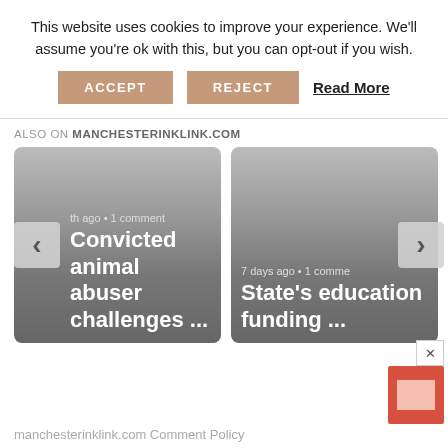This website uses cookies to improve your experience. We'll assume you're ok with this, but you can opt-out if you wish.
ACCEPT  REJECT  Read More
ALSO ON MANCHESTERINKLINK.COM
[Figure (screenshot): Two article cards side by side with navigation arrows. Left card: '...th ago • 1 comment / Convicted animal abuser challenges ...'. Right card: '7 days ago • 1 comme... / State's education funding ...'. Gray gradient background cards with white bold text.]
manchesterinklink.com Comment Policy